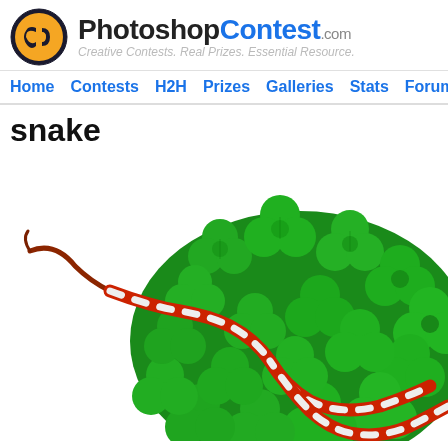PhotoshopContest.com - Creative Contests. Real Prizes. Essential Resource.
Home | Contests | H2H | Prizes | Galleries | Stats | Forum | C
snake
[Figure (photo): A red and white banded snake winding through a large pile of bright green four-leaf clovers/shamrocks. The snake's tail curls up to the left. The image is cropped so the clover pile fills most of the frame.]